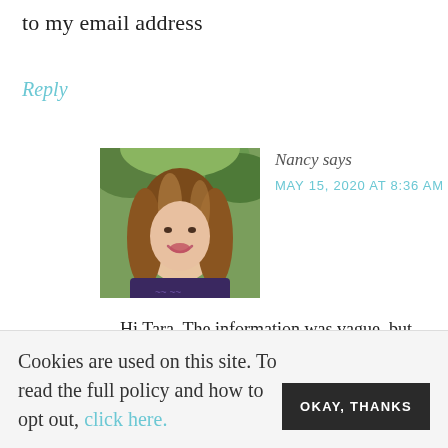to my email address
Reply
[Figure (photo): Profile photo of Nancy, a woman with shoulder-length brown hair smiling, outdoors with green foliage background.]
Nancy says
MAY 15, 2020 AT 8:36 AM
Hi Tara, The information was vague, but perhaps this will help you a bit. "Pl...
Cookies are used on this site. To read the full policy and how to opt out, click here.